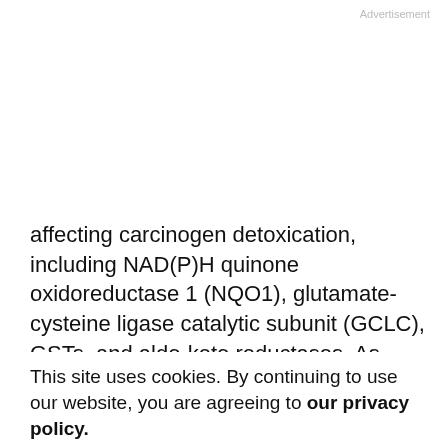Advertisement
affecting carcinogen detoxication, including NAD(P)H quinone oxidoreductase 1 (NQO1), glutamate-cysteine ligase catalytic subunit (GCLC), GSTs, and aldo-keto reductases. As glucoraphanin is 20 to 50 times more concentrated in broccoli seeds relative to mature plants (31, 32), various broccoli seed preparations are under development as chemopreventive agents against carcinogen-induced cancers.
This site uses cookies. By continuing to use our website, you are agreeing to our privacy policy. Accept
Proof-of-concept clinical trials in healthy volunteers have shown that broccoli sprout extracts (BSE) rich in glucoraphanin and/or sulforaphane are well tolerated and